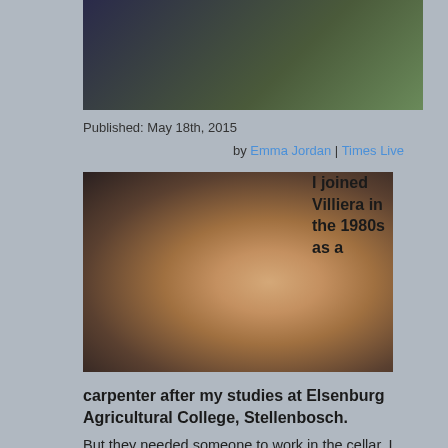[Figure (photo): Partial photo of person in black top with green foliage background, cropped at top]
Published: May 18th, 2015
by Emma Jordan | Times Live
[Figure (photo): Smiling bald man in black t-shirt outdoors with greenery and another person visible in background]
I joined Villiera in the 1980s as a
carpenter after my studies at Elsenburg Agricultural College, Stellenbosch.
But they needed someone to work in the cellar. I worked there during harvest and then went back to carpentry out of harvest.